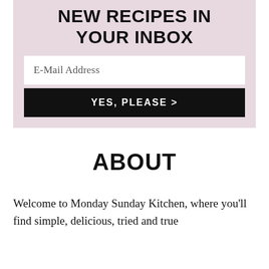NEW RECIPES IN YOUR INBOX
E-Mail Address
YES, PLEASE >
ABOUT
Welcome to Monday Sunday Kitchen, where you'll find simple, delicious, tried and true